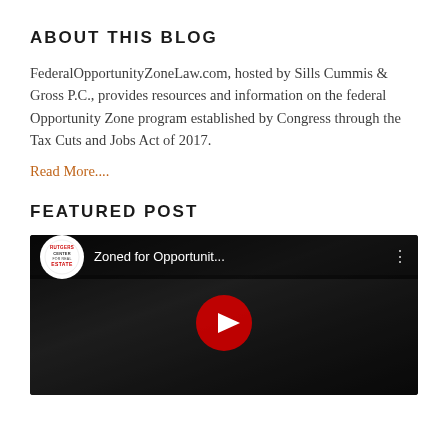ABOUT THIS BLOG
FederalOpportunityZoneLaw.com, hosted by Sills Cummis & Gross P.C., provides resources and information on the federal Opportunity Zone program established by Congress through the Tax Cuts and Jobs Act of 2017.
Read More....
FEATURED POST
[Figure (screenshot): YouTube video thumbnail showing 'Zoned for Opportunit...' with Rutgers Center for Real Estate logo, a dark background with a person gesturing, and a red play button in the center.]